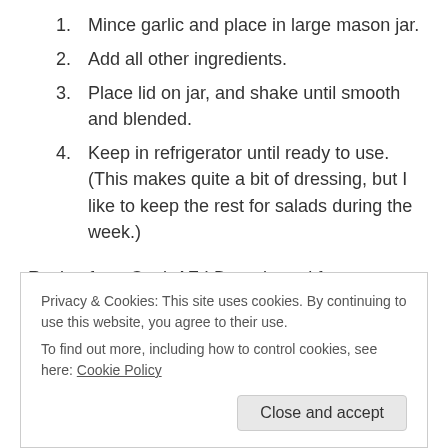1. Mince garlic and place in large mason jar.
2. Add all other ingredients.
3. Place lid on jar, and shake until smooth and blended.
4. Keep in refrigerator until ready to use. (This makes quite a bit of dressing, but I like to keep the rest for salads during the week.)
Recipe from Cook AZ I Do, adapted from Lauren's Latest
Privacy & Cookies: This site uses cookies. By continuing to use this website, you agree to their use.
To find out more, including how to control cookies, see here: Cookie Policy
Close and accept